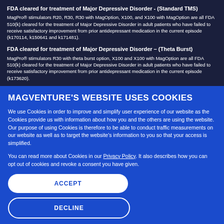FDA cleared for treatment of Major Depressive Disorder - (Standard TMS)
MagPro® stimulators R20, R30, R30 with MagOption, X100, and X100 with MagOption are all FDA 510(k) cleared for the treatment of Major Depressive Disorder in adult patients who have failed to receive satisfactory improvement from prior antidepressant medication in the current episode (k170114, k150641 and k171481).
FDA cleared for treatment of Major Depressive Disorder – (Theta Burst)
MagPro® stimulators R30 with theta burst option, X100 and X100 with MagOption are all FDA 510(k) cleared for the treatment of Major Depressive Disorder in adult patients who have failed to receive satisfactory improvement from prior antidepressant medication in the current episode (k173620).
MAGVENTURE'S WEBSITE USES COOKIES
We use Cookies in order to improve and simplify user experience of our website as the Cookies provide us with information about how you and the others are using the website. Our purpose of using Cookies is therefore to be able to conduct traffic measurements on our website as well as to target the website's information to you so that your access is simplified.
You can read more about Cookies in our Privacy Policy. It also describes how you can opt out of cookies and revoke a consent you have given.